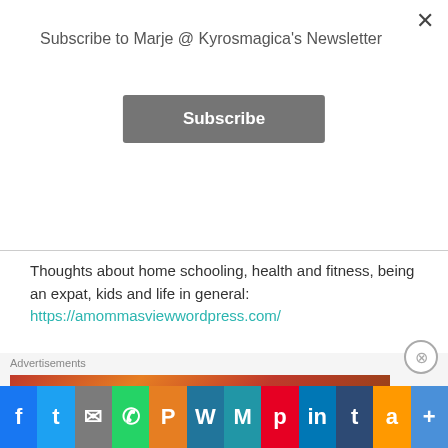Subscribe to Marje @ Kyrosmagica's Newsletter
Subscribe
Thoughts about home schooling, health and fitness, being an expat, kids and life in general: https://amommasviewwordpress.com/
Blogger Recognition Award and Advice To New Bloggers
Advertisements
Search, browse, and email